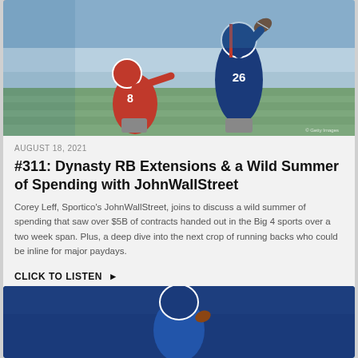[Figure (photo): Football action photo showing player #26 in blue Giants uniform catching a ball, with a red-uniformed player #8 in the background]
AUGUST 18, 2021
#311: Dynasty RB Extensions & a Wild Summer of Spending with JohnWallStreet
Corey Leff, Sportico's JohnWallStreet, joins to discuss a wild summer of spending that saw over $5B of contracts handed out in the Big 4 sports over a two week span. Plus, a deep dive into the next crop of running backs who could be inline for major paydays.
CLICK TO LISTEN ▶
[Figure (photo): Partially visible football photo at the bottom, showing a player in blue uniform]